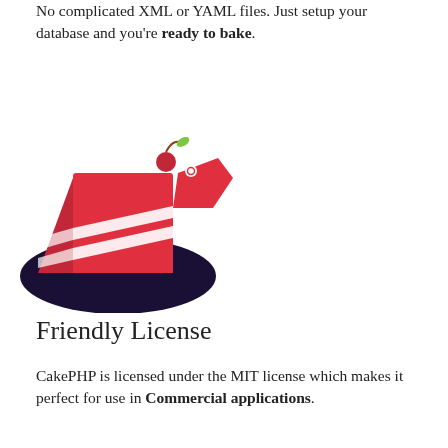No complicated XML or YAML files. Just setup your database and you're ready to bake.
[Figure (logo): CakePHP logo: a dark navy ellipse base with a red cake slice piece decorated with white stripes and a red cherry, accompanied by a red price tag icon to the right]
Friendly License
CakePHP is licensed under the MIT license which makes it perfect for use in Commercial applications.